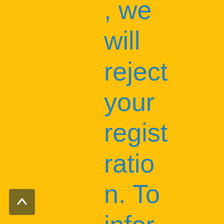, we will reject your registration. To inform you about t
[Figure (other): Scroll-to-top button arrow icon]